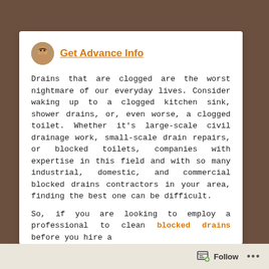Get Advance Info
Drains that are clogged are the worst nightmare of our everyday lives. Consider waking up to a clogged kitchen sink, shower drains, or, even worse, a clogged toilet. Whether it’s large-scale civil drainage work, small-scale drain repairs, or blocked toilets, companies with expertise in this field and with so many industrial, domestic, and commercial blocked drains contractors in your area, finding the best one can be difficult.
So, if you are looking to employ a professional to clean blocked drains before you hire a